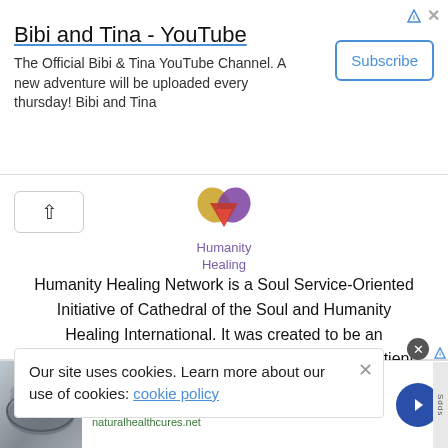[Figure (screenshot): Advertisement banner for 'Bibi and Tina - YouTube' channel with Subscribe button]
[Figure (logo): Humanity Healing logo with colorful heart/wings icon and purple text]
Humanity Healing Network is a Soul Service-Oriented Initiative of Cathedral of the Soul and Humanity Healing International. It was created to be an Educational Platform for Spiritual, Conscious, Sentient, Artistic & Creative Projects.
s Reserved
Our site uses cookies. Learn more about our use of cookies: cookie policy
[Figure (screenshot): Advertisement for 'Before Breakfast Weight Loss Method' from naturalhealthcures.net]